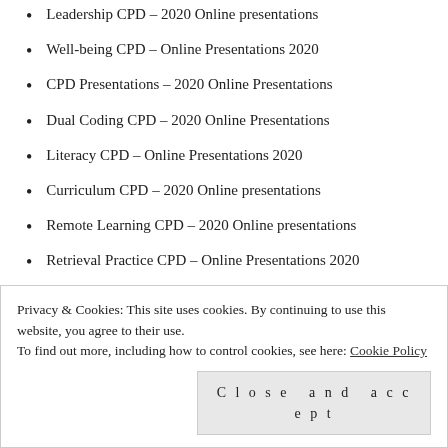Leadership CPD – 2020 Online presentations
Well-being CPD – Online Presentations 2020
CPD Presentations – 2020 Online Presentations
Dual Coding CPD – 2020 Online Presentations
Literacy CPD – Online Presentations 2020
Curriculum CPD – 2020 Online presentations
Remote Learning CPD – 2020 Online presentations
Retrieval Practice CPD – Online Presentations 2020
A collection of retrieval practice research and resources ...
Privacy & Cookies: This site uses cookies. By continuing to use this website, you agree to their use. To find out more, including how to control cookies, see here: Cookie Policy
Close and accept